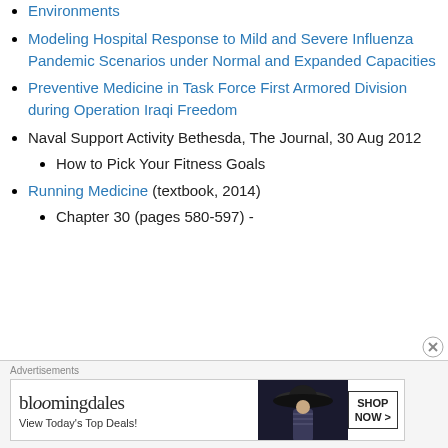Environments
Modeling Hospital Response to Mild and Severe Influenza Pandemic Scenarios under Normal and Expanded Capacities
Preventive Medicine in Task Force First Armored Division during Operation Iraqi Freedom
Naval Support Activity Bethesda, The Journal, 30 Aug 2012
How to Pick Your Fitness Goals
Running Medicine (textbook, 2014)
Chapter 30 (pages 580-597) -
Advertisements
[Figure (other): Bloomingdale's advertisement banner showing logo, 'View Today's Top Deals!' text, woman with wide-brim hat, and 'SHOP NOW >' button]